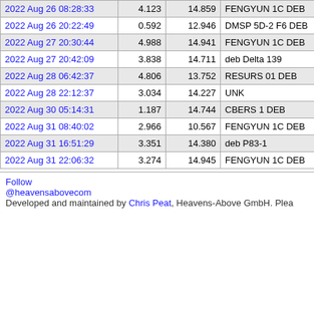| Date/Time | Distance | Revolution | Name | ID |
| --- | --- | --- | --- | --- |
| 2022 Aug 26 08:28:33 | 4.123 | 14.859 | FENGYUN 1C DEB | 40447 |
| 2022 Aug 26 20:22:49 | 0.592 | 12.946 | DMSP 5D-2 F6 DEB | 40918 |
| 2022 Aug 27 20:30:44 | 4.988 | 14.941 | FENGYUN 1C DEB | 30221 |
| 2022 Aug 27 20:42:09 | 3.838 | 14.711 | deb Delta 139 | 12230 |
| 2022 Aug 28 06:42:37 | 4.806 | 13.752 | RESURS 01 DEB | 46882 |
| 2022 Aug 28 22:12:37 | 3.034 | 14.227 | UNK | 28482 |
| 2022 Aug 30 05:14:31 | 1.187 | 14.744 | CBERS 1 DEB | 31873 |
| 2022 Aug 31 08:40:02 | 2.966 | 10.567 | FENGYUN 1C DEB | 30016 |
| 2022 Aug 31 16:51:29 | 3.351 | 14.380 | deb P83-1 | 14222 |
| 2022 Aug 31 22:06:32 | 3.274 | 14.945 | FENGYUN 1C DEB | 31385 |
Follow @heavensabovecom   Developed and maintained by Chris Peat, Heavens-Above GmbH. Plea...